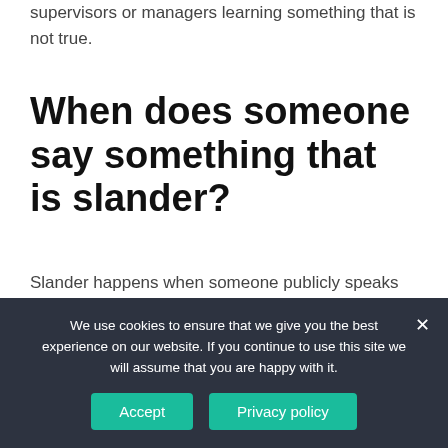supervisors or managers learning something that is not true.
When does someone say something that is slander?
Slander happens when someone publicly speaks damaging and false information about another person. It is a form of defamation of character.
Defamation of Character in the Workplace Explained. Slander in the workplace is probably the
We use cookies to ensure that we give you the best experience on our website. If you continue to use this site we will assume that you are happy with it.